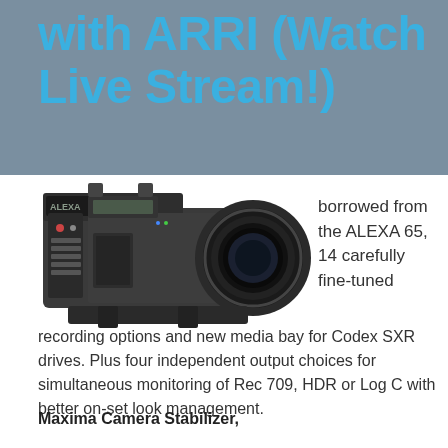with ARRI (Watch Live Stream!)
[Figure (photo): ARRI ALEXA camera with lens, side view showing controls and Codex media bay]
borrowed from the ALEXA 65, 14 carefully fine-tuned recording options and new media bay for Codex SXR drives. Plus four independent output choices for simultaneous monitoring of Rec 709, HDR or Log C with better on-set look management.
Maxima Camera Stabilizer,